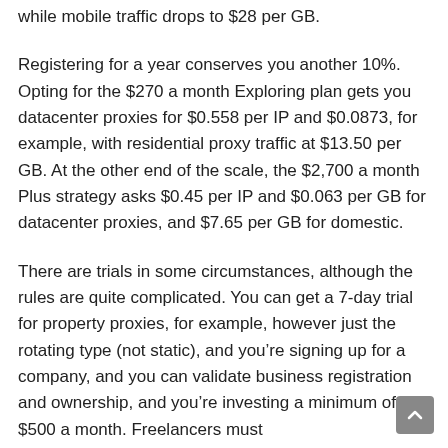while mobile traffic drops to $28 per GB.
Registering for a year conserves you another 10%. Opting for the $270 a month Exploring plan gets you datacenter proxies for $0.558 per IP and $0.0873, for example, with residential proxy traffic at $13.50 per GB. At the other end of the scale, the $2,700 a month Plus strategy asks $0.45 per IP and $0.063 per GB for datacenter proxies, and $7.65 per GB for domestic.
There are trials in some circumstances, although the rules are quite complicated. You can get a 7-day trial for property proxies, for example, however just the rotating type (not static), and you’re signing up for a company, and you can validate business registration and ownership, and you’re investing a minimum of $500 a month. Freelancers must